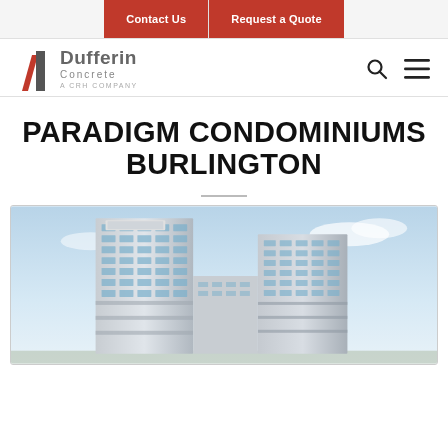Contact Us | Request a Quote
[Figure (logo): Dufferin Concrete - A CRH Company logo with red and grey geometric mark]
PARADIGM CONDOMINIUMS BURLINGTON
[Figure (photo): Architectural rendering of Paradigm Condominiums Burlington - two modern high-rise towers with glass and concrete facade against a blue sky]